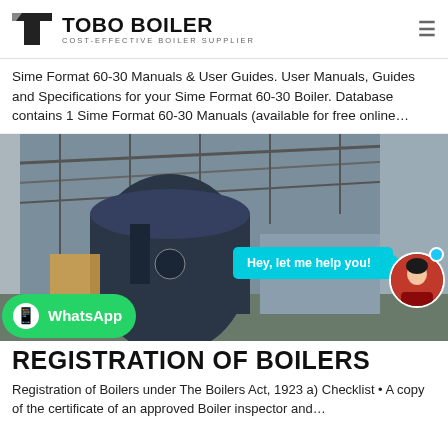TOBO BOILER — COST-EFFECTIVE BOILER SUPPLIER
Sime Format 60-30 Manuals & User Guides. User Manuals, Guides and Specifications for your Sime Format 60-30 Boiler. Database contains 1 Sime Format 60-30 Manuals (available for free online…
[Figure (photo): Industrial boiler inside a large steel-framed warehouse/factory, with chat bubble overlay saying 'Hey, let me help you!', avatar of a woman, and a WhatsApp button]
REGISTRATION OF BOILERS
Registration of Boilers under The Boilers Act, 1923 a) Checklist • A copy of the certificate of an approved Boiler inspector and…